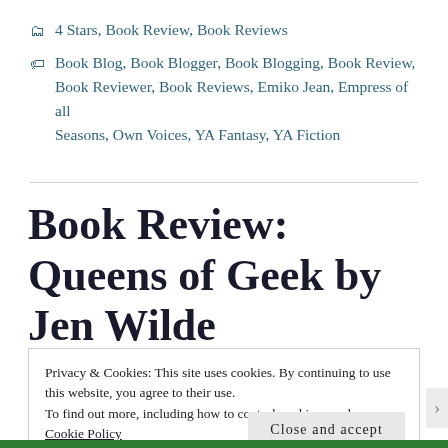4 Stars, Book Review, Book Reviews
Book Blog, Book Blogger, Book Blogging, Book Review, Book Reviewer, Book Reviews, Emiko Jean, Empress of all Seasons, Own Voices, YA Fantasy, YA Fiction
Book Review: Queens of Geek by Jen Wilde
Privacy & Cookies: This site uses cookies. By continuing to use this website, you agree to their use.
To find out more, including how to control cookies, see here: Cookie Policy